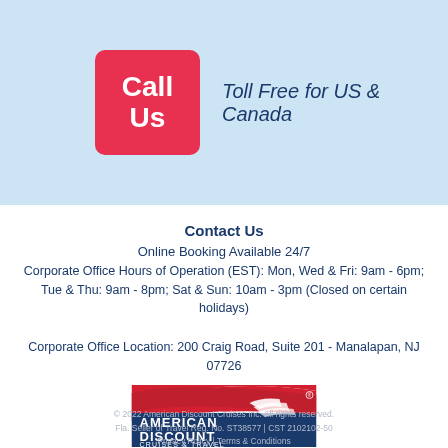[Figure (logo): Red square button with white bold text 'Call Us' next to italic text 'Toll Free for US & Canada' on light blue background]
Contact Us
Online Booking Available 24/7
Corporate Office Hours of Operation (EST): Mon, Wed & Fri: 9am - 6pm; Tue & Thu: 9am - 8pm; Sat & Sun: 10am - 3pm (Closed on certain holidays)
Corporate Office Location: 200 Craig Road, Suite 201 - Manalapan, NJ 07726
[Figure (logo): American Discount Cruises & Travel logo with red and blue design and ship illustration]
© 2022 American Discount Cruises Inc. All rights reserved. Fla. Seller of Travel Reg. No. ST38577 | CST 2102102-50 Privacy Policy | Terms & Conditions